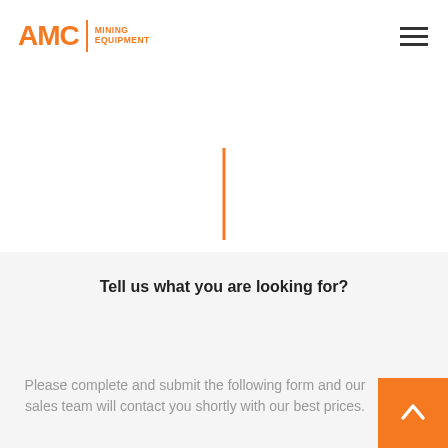AMC MINING EQUIPMENT
[Figure (other): Orange vertical decorative bar divider]
beneficiation equipmen Tcrushing
<
Tell us what you are looking for?
Please complete and submit the following form and our sales team will contact you shortly with our best prices.